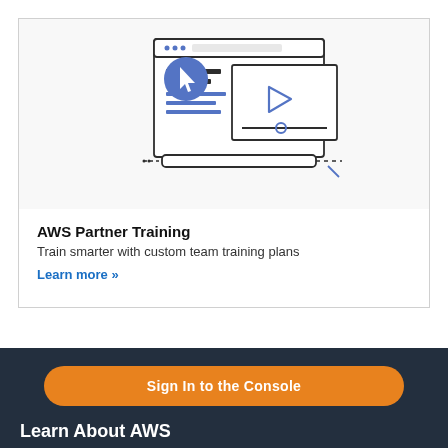[Figure (illustration): Illustration of a laptop/computer screen with a browser window showing a video player interface and a cursor icon, representing online training]
AWS Partner Training
Train smarter with custom team training plans
Learn more »
Sign In to the Console
Learn About AWS